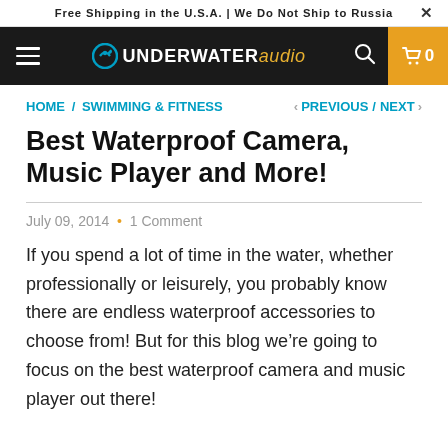Free Shipping in the U.S.A. | We Do Not Ship to Russia  ✕
UNDERWATER audio  [cart: 0]
HOME / SWIMMING & FITNESS   < PREVIOUS / NEXT >
Best Waterproof Camera, Music Player and More!
July 09, 2014  •  1 Comment
If you spend a lot of time in the water, whether professionally or leisurely, you probably know there are endless waterproof accessories to choose from! But for this blog we're going to focus on the best waterproof camera and music player out there!